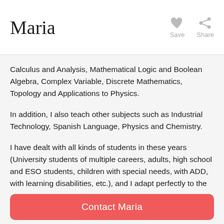Maria
Calculus and Analysis, Mathematical Logic and Boolean Algebra, Complex Variable, Discrete Mathematics, Topology and Applications to Physics.
In addition, I also teach other subjects such as Industrial Technology, Spanish Language, Physics and Chemistry.
I have dealt with all kinds of students in these years (University students of multiple careers, adults, high school and ESO students, children with special needs, with ADD, with learning disabilities, etc.), and I adapt perfectly to the needs of each one, with more technical or simpler explanations in each case, always stopping at the weaknesses of each student, and trying to reinforce them so that they do not have any problem when facing the exams alone.
Contact Maria